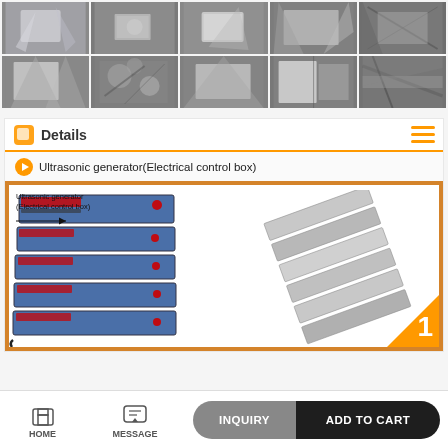[Figure (photo): Top row of 5 product detail photos showing metallic/foil surface textures in grayscale]
[Figure (photo): Second row of 5 product detail photos showing metallic/foil surface textures with cracks and patterns in grayscale]
Details
Ultrasonic generator(Electrical control box)
[Figure (photo): Product photo showing stacked blue ultrasonic generator electrical control boxes on the left side and flat metallic transducer plates on the right side, labeled as item 1. Arrow pointing to label 'Ultrasonic generator (Electrical control box)']
HOME   MESSAGE   INQUIRY   ADD TO CART